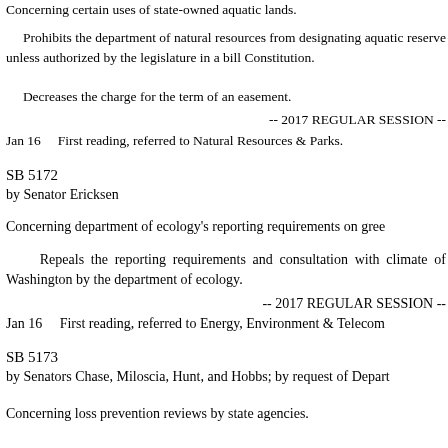Concerning certain uses of state-owned aquatic lands.
Prohibits the department of natural resources from designating aquatic reserve unless authorized by the legislature in a bill Constitution.
Decreases the charge for the term of an easement.
-- 2017 REGULAR SESSION --
Jan 16    First reading, referred to Natural Resources & Parks.
SB 5172
by Senator Ericksen
Concerning department of ecology's reporting requirements on gree
Repeals the reporting requirements and consultation with climate of Washington by the department of ecology.
-- 2017 REGULAR SESSION --
Jan 16    First reading, referred to Energy, Environment & Telecom
SB 5173
by Senators Chase, Miloscia, Hunt, and Hobbs; by request of Depart
Concerning loss prevention reviews by state agencies.